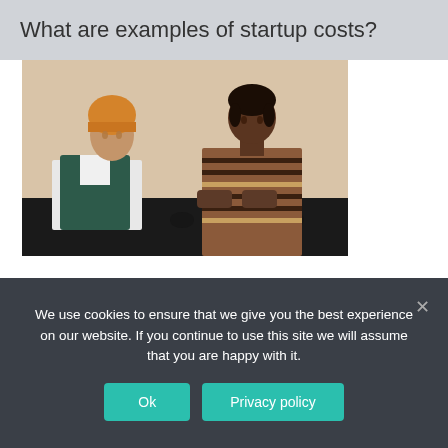What are examples of startup costs?
[Figure (photo): Two people sitting on a black leather sofa against a beige wall. On the left, a man wearing an orange/yellow beanie hat and a dark teal puffer vest over a white shirt, looking to the right. On the right, a woman with short hair wearing a brown striped sweater with arms crossed, looking toward the man.]
We use cookies to ensure that we give you the best experience on our website. If you continue to use this site we will assume that you are happy with it.